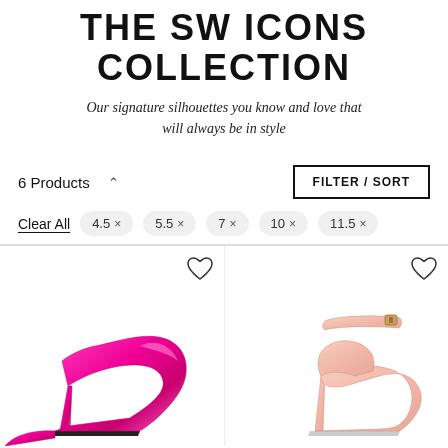THE SW ICONS COLLECTION
Our signature silhouettes you know and love that will always be in style
6 Products
FILTER / SORT
Clear All  4.5 ×  5.5 ×  7 ×  10 ×  11.5 ×
[Figure (photo): Hot pink metallic pointed-toe stiletto heel shoe, partially visible at bottom left of product grid]
[Figure (photo): Nude/blush ankle-strap sandal heel shoe, partially visible at bottom right of product grid]